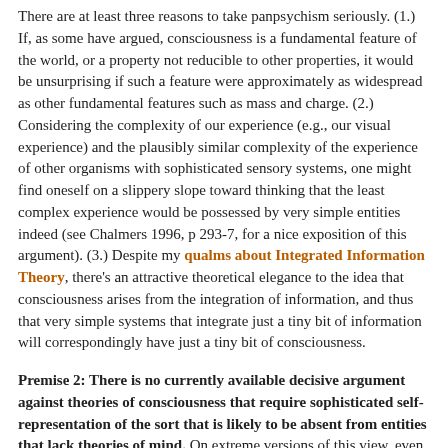There are at least three reasons to take panpsychism seriously. (1.) If, as some have argued, consciousness is a fundamental feature of the world, or a property not reducible to other properties, it would be unsurprising if such a feature were approximately as widespread as other fundamental features such as mass and charge. (2.) Considering the complexity of our experience (e.g., our visual experience) and the plausibly similar complexity of the experience of other organisms with sophisticated sensory systems, one might find oneself on a slippery slope toward thinking that the least complex experience would be possessed by very simple entities indeed (see Chalmers 1996, p 293-7, for a nice exposition of this argument). (3.) Despite my qualms about Integrated Information Theory, there's an attractive theoretical elegance to the idea that consciousness arises from the integration of information, and thus that very simple systems that integrate just a tiny bit of information will correspondingly have just a tiny bit of consciousness.
Premise 2: There is no currently available decisive argument against theories of consciousness that require sophisticated self-representation of the sort that is likely to be absent from entities that lack theories of mind. On extreme versions of this view, even dogs and infants might not have conscious experience. (Again, highly contrary to common sense, but!) Among prominent researchers who have taken such a view seriously are Daniel Dennett and Peter Carruthers (though recently Carruthers has